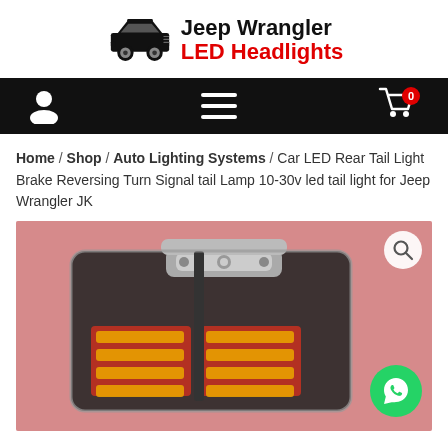[Figure (logo): Jeep Wrangler LED Headlights logo with black Jeep Wrangler silhouette and text]
[Figure (infographic): Black navigation bar with user icon, hamburger menu icon, and shopping cart icon with badge showing 0]
Home / Shop / Auto Lighting Systems / Car LED Rear Tail Light Brake Reversing Turn Signal tail Lamp 10-30v led tail light for Jeep Wrangler JK
[Figure (photo): Product photo of a Jeep Wrangler JK LED tail light mounted on a red Jeep, showing chrome/silver trim and amber LED strips. WhatsApp contact button visible in bottom right corner, magnifier search icon in top right.]